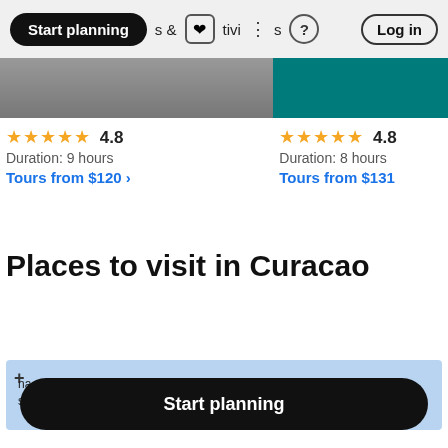Start planning  &  activities  ?  Log in
[Figure (screenshot): Two tour listing card images: left grayscale photo, right teal colored image]
★★★★★ 4.8
Duration: 9 hours
Tours from $120 ›
★★★★★ 4.8
Duration: 8 hours
Tours from $131
Places to visit in Curacao
[Figure (map): Partial map showing a coastal area with blue water, green land mass, and yellow road. Labels visible: +, na, stpunt]
Start planning